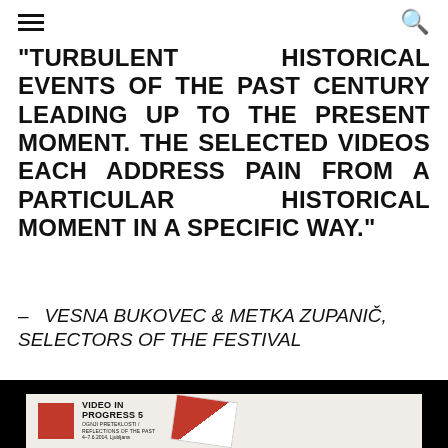[hamburger menu] [search icon]
TURBULENT HISTORICAL EVENTS OF THE PAST CENTURY LEADING UP TO THE PRESENT MOMENT. THE SELECTED VIDEOS EACH ADDRESS PAIN FROM A PARTICULAR HISTORICAL MOMENT IN A SPECIFIC WAY."
– VESNA BUKOVEC & METKA ZUPANIČ, SELECTORS OF THE FESTIVAL
[Figure (photo): Photograph showing a 'Video in Progress 5' festival brochure/flyer on a white background with black top area. The brochure features a red and black graphic design with the text 'VIDEO IN PROGRESS 5' prominently displayed.]